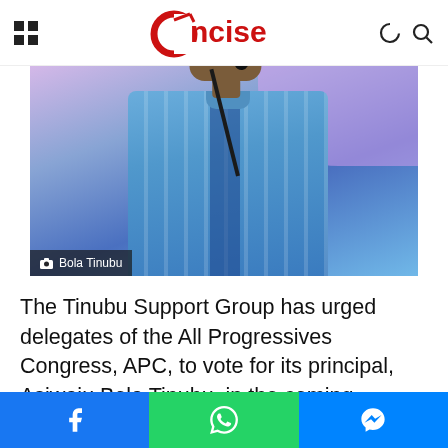Concise (logo/navbar with grid icon, moon icon, search icon)
[Figure (photo): Photo of Bola Tinubu in a blue patterned agbada garment, speaking at a microphone, with colorful background. Caption overlay reads: Bola Tinubu]
The Tinubu Support Group has urged delegates of the All Progressives Congress, APC, to vote for its principal, Asiwaju Bola Tinubu, in the coming presidential primary of the party.
Social share buttons: Facebook, WhatsApp, Messenger